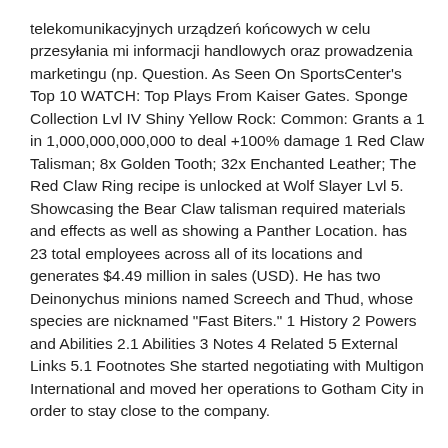telekomunikacyjnych urządzeń końcowych w celu przesyłania mi informacji handlowych oraz prowadzenia marketingu (np. Question. As Seen On SportsCenter's Top 10 WATCH: Top Plays From Kaiser Gates. Sponge Collection Lvl IV Shiny Yellow Rock: Common: Grants a 1 in 1,000,000,000,000 to deal +100% damage 1 Red Claw Talisman; 8x Golden Tooth; 32x Enchanted Leather; The Red Claw Ring recipe is unlocked at Wolf Slayer Lvl 5. Showcasing the Bear Claw talisman required materials and effects as well as showing a Panther Location. has 23 total employees across all of its locations and generates $4.49 million in sales (USD). He has two Deinonychus minions named Screech and Thud, whose species are nicknamed "Fast Biters." 1 History 2 Powers and Abilities 2.1 Abilities 3 Notes 4 Related 5 External Links 5.1 Footnotes She started negotiating with Multigon International and moved her operations to Gotham City in order to stay close to the company.